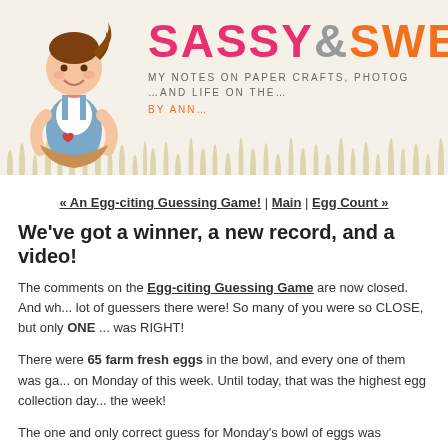[Figure (illustration): Blog header banner showing a cartoon girl with brown hair holding a heart-shaped object, with watercolor grass at the bottom, and the blog title 'SASSY & SWEET' in large pink, gray, and orange text, subtitle 'My Notes on Paper Crafts, Photo... ...and Life on the...' and byline 'by Ann...']
« An Egg-citing Guessing Game! | Main | Egg Count »
We've got a winner, a new record, and a video!
The comments on the Egg-citing Guessing Game are now closed. And wh... lot of guessers there were! So many of you were so CLOSE, but only ONE ... was RIGHT!
There were 65 farm fresh eggs in the bowl, and every one of them was ga... on Monday of this week. Until today, that was the highest egg collection day... the week!
The one and only correct guess for Monday's bowl of eggs was submitted b... Mary Campbell: